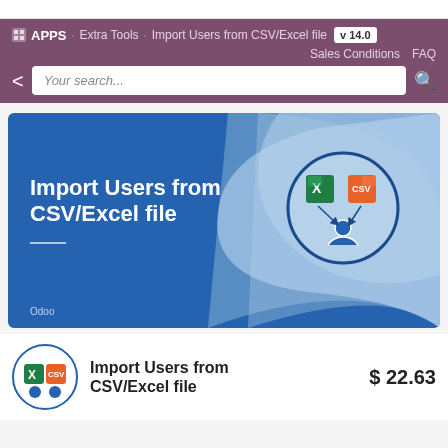APPS · Extra Tools · Import Users from CSV/Excel file · v 14.0 · Sales Conditions · FAQ
[Figure (screenshot): Navigation bar with breadcrumb: APPS > Extra Tools > Import Users from CSV/Excel file, version badge v 14.0, Sales Conditions and FAQ links, and a search bar with back arrow and search icon.]
[Figure (illustration): Hero banner with blue background showing 'Import Users from CSV/Excel file' title in white bold text, a horizontal white line below, 'Odoo' label at bottom left, and a circular icon on the right showing Excel and CSV file icons above a user icon with arrows pointing down.]
Import Users from CSV/Excel file
$ 22.63